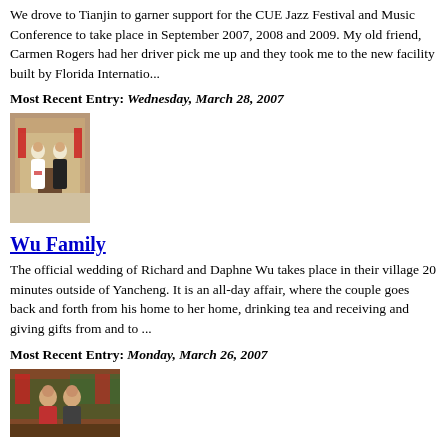We drove to Tianjin to garner support for the CUE Jazz Festival and Music Conference to take place in September 2007, 2008 and 2009. My old friend, Carmen Rogers had her driver pick me up and they took me to the new facility built by Florida Internatio...
Most Recent Entry: Wednesday, March 28, 2007
[Figure (photo): Wedding photo of a couple, woman in white dress and man in dark suit, standing in front of a building with red decorations]
Wu Family
The official wedding of Richard and Daphne Wu takes place in their village 20 minutes outside of Yancheng. It is an all-day affair, where the couple goes back and forth from his home to her home, drinking tea and receiving and giving gifts from and to ...
Most Recent Entry: Monday, March 26, 2007
[Figure (photo): Photo of a couple at what appears to be a festive event with red decorations in background]